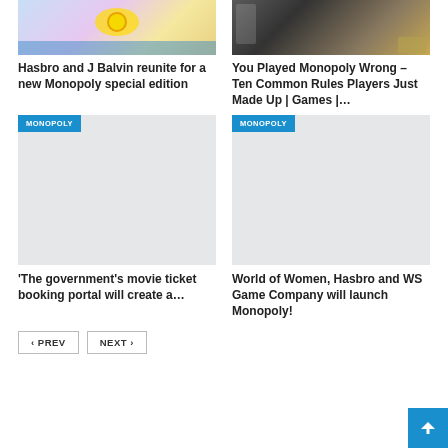[Figure (photo): Hasbro Monopoly special edition board game colorful photo]
[Figure (photo): Man in pinstripe suit with Monopoly board and game pieces]
Hasbro and J Balvin reunite for a new Monopoly special edition
You Played Monopoly Wrong – Ten Common Rules Players Just Made Up | Games |…
[Figure (photo): Monopoly category placeholder image with MONOPOLY badge]
[Figure (photo): Monopoly category placeholder image with MONOPOLY badge]
'The government's movie ticket booking portal will create a…
World of Women, Hasbro and WS Game Company will launch Monopoly!